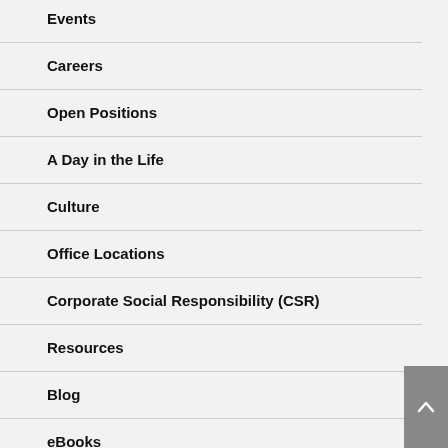Events
Careers
Open Positions
A Day in the Life
Culture
Office Locations
Corporate Social Responsibility (CSR)
Resources
Blog
eBooks